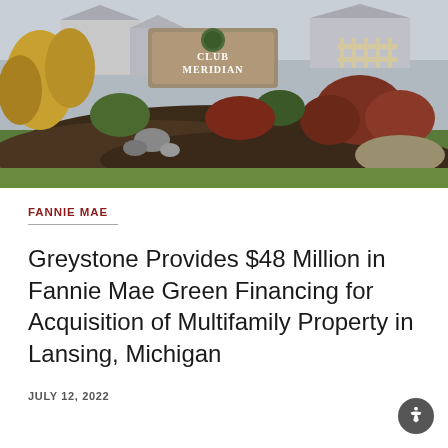[Figure (photo): Outdoor photo of Club Meridian property entrance with a stone sign reading 'Club Meridian', surrounded by landscaped garden beds with mulch, ornamental grasses, shrubs, and trees. A house and fencing are visible in the background.]
FANNIE MAE
Greystone Provides $48 Million in Fannie Mae Green Financing for Acquisition of Multifamily Property in Lansing, Michigan
JULY 12, 2022